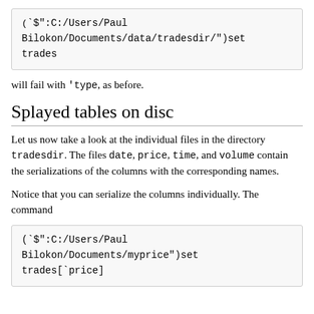(`$":C:/Users/Paul Bilokon/Documents/data/tradesdir/")set trades
will fail with 'type, as before.
Splayed tables on disc
Let us now take a look at the individual files in the directory tradesdir. The files date, price, time, and volume contain the serializations of the columns with the corresponding names.
Notice that you can serialize the columns individually. The command
(`$":C:/Users/Paul Bilokon/Documents/myprice")set trades[`price]